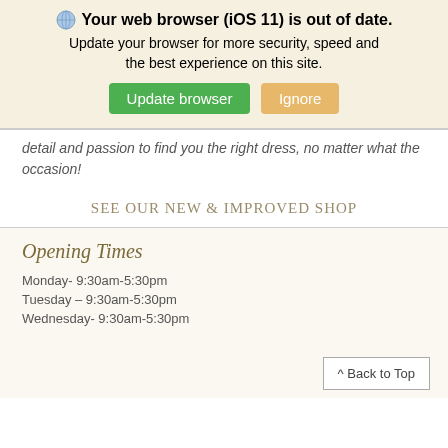🌐 Your web browser (iOS 11) is out of date. Update your browser for more security, speed and the best experience on this site. [Update browser] [Ignore]
detail and passion to find you the right dress, no matter what the occasion!
SEE OUR NEW & IMPROVED SHOP
Opening Times
Monday- 9:30am-5:30pm
Tuesday – 9:30am-5:30pm
Wednesday- 9:30am-5:30pm